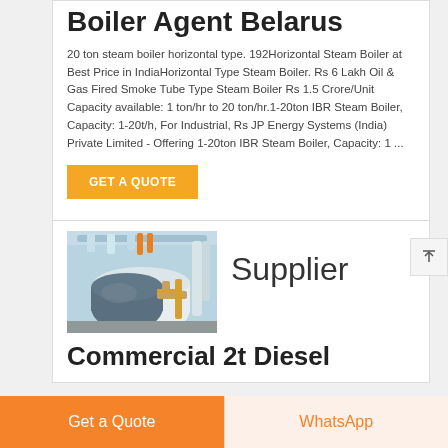Boiler Agent Belarus
20 ton steam boiler horizontal type. 192Horizontal Steam Boiler at Best Price in IndiaHorizontal Type Steam Boiler. Rs 6 Lakh Oil & Gas Fired Smoke Tube Type Steam Boiler Rs 1.5 Crore/Unit Capacity available: 1 ton/hr to 20 ton/hr.1-20ton IBR Steam Boiler, Capacity: 1-20t/h, For Industrial, Rs JP Energy Systems (India) Private Limited - Offering 1-20ton IBR Steam Boiler, Capacity: 1 ...
[Figure (other): Orange GET A QUOTE button]
[Figure (photo): Industrial boiler/pipe system in a factory setting]
Supplier
Commercial 2t Diesel